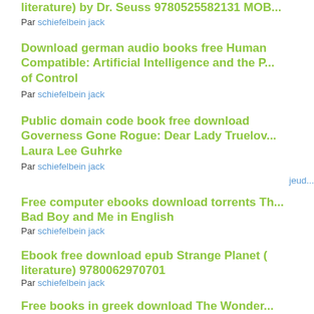literature) by Dr. Seuss 9780525582131 MOB...
Par schiefelbein jack
Download german audio books free Human Compatible: Artificial Intelligence and the P... of Control
Par schiefelbein jack
Public domain code book free download Governess Gone Rogue: Dear Lady Truelov... Laura Lee Guhrke
Par schiefelbein jack
jeud...
Free computer ebooks download torrents Th... Bad Boy and Me in English
Par schiefelbein jack
Ebook free download epub Strange Planet (literature) 9780062970701
Par schiefelbein jack
Free books in greek download The Wonder...